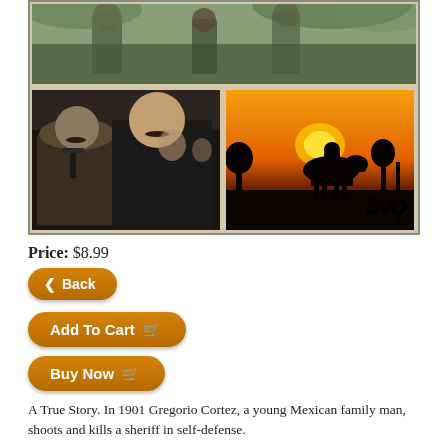[Figure (photo): DVD cover showing three film stills: top wide shot of people outdoors, bottom-left showing two men with hats and mustaches in a crowd, bottom-right showing a horseman silhouetted against an orange sunset sky. DVD Video logo in bottom-right corner.]
Price: $8.99
Back
Add To Cart
Buy Now
A True Story. In 1901 Gregorio Cortez, a young Mexican family man, shoots and kills a sheriff in self-defense.